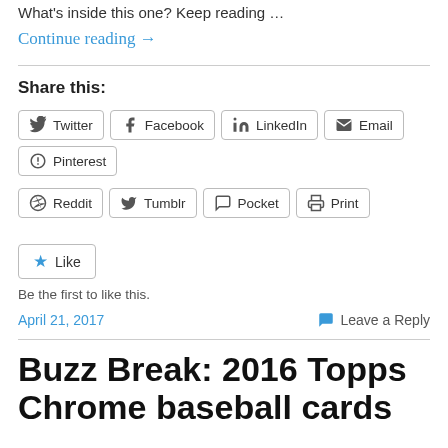What's inside this one? Keep reading …
Continue reading →
Share this:
Twitter
Facebook
LinkedIn
Email
Pinterest
Reddit
Tumblr
Pocket
Print
Like
Be the first to like this.
April 21, 2017
Leave a Reply
Buzz Break: 2016 Topps Chrome baseball cards